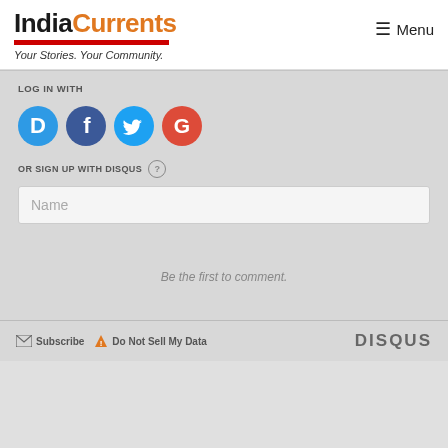IndiaCurrents — Your Stories. Your Community.
LOG IN WITH
[Figure (logo): Social login icons: Disqus (blue D), Facebook (dark blue f), Twitter (light blue bird), Google (red G)]
OR SIGN UP WITH DISQUS ?
Name
Be the first to comment.
Subscribe | Do Not Sell My Data | DISQUS